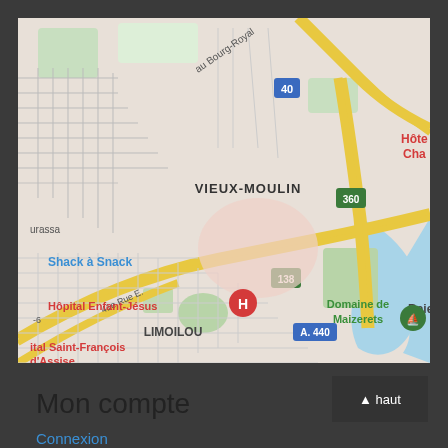[Figure (map): Google Maps screenshot showing the Limoilou area of Quebec City, with landmarks including Hôpital Enfant-Jésus, Domaine de Maizerets, VIEUX-MOULIN, Shack à Snack, Hôpital Saint-François d'Assise, route numbers 40, 360, 138, A.440, and Baie visible on the right edge.]
Mon compte
Connexion